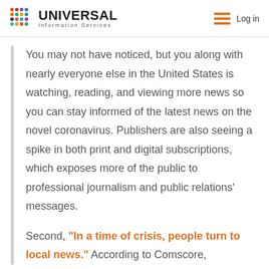UNIVERSAL Information Services | Log in
You may not have noticed, but you along with nearly everyone else in the United States is watching, reading, and viewing more news so you can stay informed of the latest news on the novel coronavirus. Publishers are also seeing a spike in both print and digital subscriptions, which exposes more of the public to professional journalism and public relations' messages.
Second, "In a time of crisis, people turn to local news." According to Comscore,